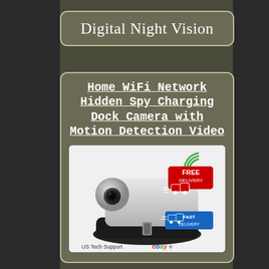Digital Night Vision
Home WiFi Network Hidden Spy Charging Dock Camera with Motion Detection Video
[Figure (photo): Product photo of a hidden spy camera disguised as a phone charging dock. Shows a white/silver dock with a camera lens on the left side, a lightning connector, and promotional badges including 'FREE DELIVERY' in red and 'FAST DELIVERY' in blue with truck icons and WiFi signal icon. Bottom shows 'US Tech Support' text and eBay logo.]